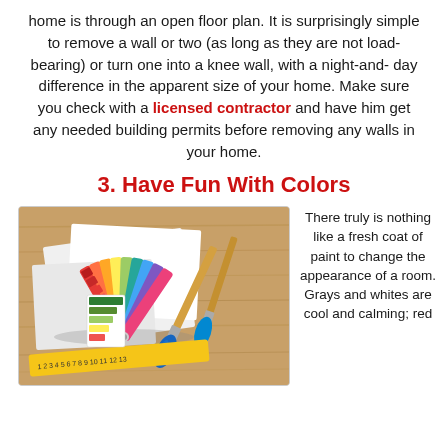home is through an open floor plan. It is surprisingly simple to remove a wall or two (as long as they are not load-bearing) or turn one into a knee wall, with a night-and-day difference in the apparent size of your home. Make sure you check with a licensed contractor and have him get any needed building permits before removing any walls in your home.
3. Have Fun With Colors
[Figure (photo): Color swatches fan, paint brushes, ruler, and paint samples spread on a wooden surface]
There truly is nothing like a fresh coat of paint to change the appearance of a room. Grays and whites are cool and calming; red